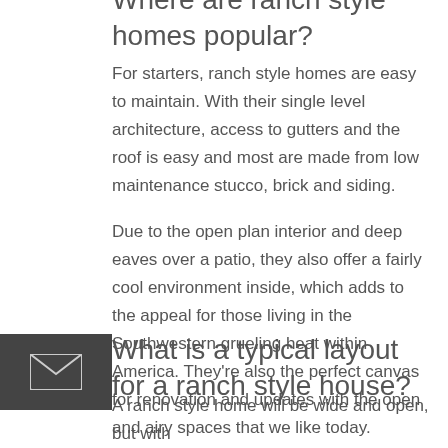Where are ranch style homes popular?
For starters, ranch style homes are easy to maintain. With their single level architecture, access to gutters and the roof is easy and most are made from low maintenance stucco, brick and siding.
Due to the open plan interior and deep eaves over a patio, they also offer a fairly cool environment inside, which adds to the appeal for those living in the Southwestern grueling heat within America. They're also the perfect canvas for renovation and updates with the open and airy spaces that we like today.
What is a typical layout for a ranch style house?
[Figure (other): Email/contact button icon with envelope symbol on dark grey background]
A ranch style home will be wide and open, but with...